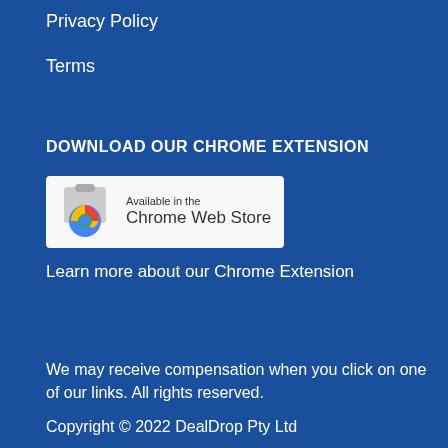Privacy Policy
Terms
DOWNLOAD OUR CHROME EXTENSION
[Figure (logo): Chrome Web Store badge showing Chrome logo and text 'Available in the Chrome Web Store']
Learn more about our Chrome Extension
We may receive compensation when you click on one of our links. All rights reserved.
Copyright © 2022 DealDrop Pty Ltd